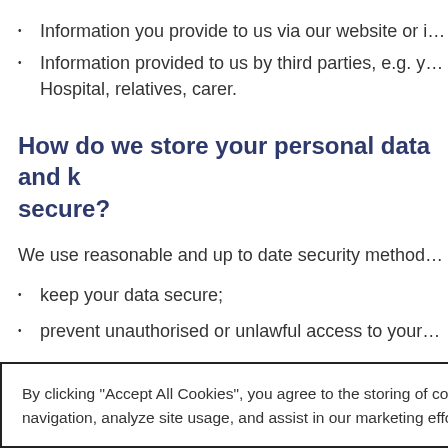Information you provide to us via our website or i…
Information provided to us by third parties, e.g. y… Hospital, relatives, carer.
How do we store your personal data and keep it secure?
We use reasonable and up to date security method…
keep your data secure;
prevent unauthorised or unlawful access to your…
By clicking "Accept All Cookies", you agree to the storing of cookies on your device to enhance site navigation, analyze site usage, and assist in our marketing efforts.